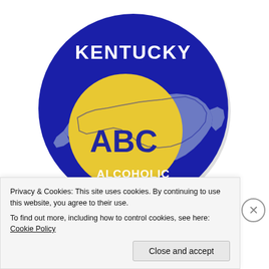[Figure (logo): Kentucky ABC Alcoholic Beverage Control circular logo with dark blue background, yellow circle in center showing Kentucky state outline, white text reading KENTUCKY at top, ABC in yellow circle, and ALCOHOLIC BEVERAGE CONTROL at bottom]
WORKS Best
[Figure (other): SEE PRICING button (partially visible, blue background, white text)]
Privacy & Cookies: This site uses cookies. By continuing to use this website, you agree to their use.
To find out more, including how to control cookies, see here: Cookie Policy
Close and accept